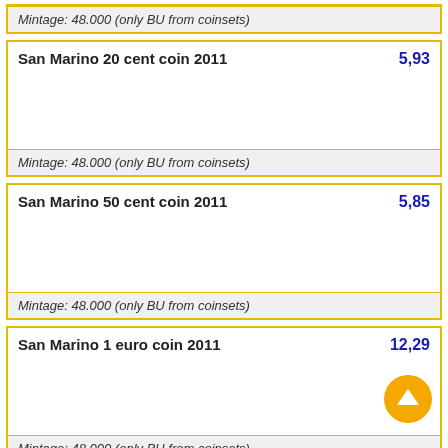Mintage: 48.000 (only BU from coinsets)
San Marino 20 cent coin 2011
5,93
Mintage: 48.000 (only BU from coinsets)
San Marino 50 cent coin 2011
5,85
Mintage: 48.000 (only BU from coinsets)
San Marino 1 euro coin 2011
12,29
Mintage: 48.000 (only BU from coinsets)